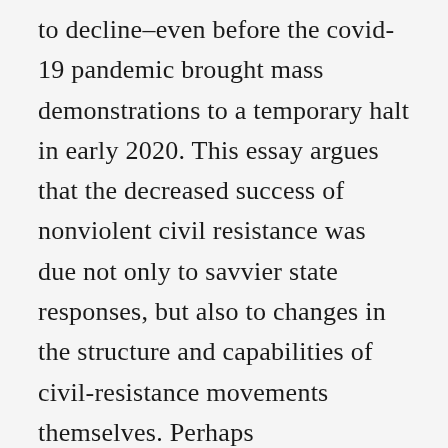to decline–even before the covid-19 pandemic brought mass demonstrations to a temporary halt in early 2020. This essay argues that the decreased success of nonviolent civil resistance was due not only to savvier state responses, but also to changes in the structure and capabilities of civil-resistance movements themselves. Perhaps counterintuitively, the coronavirus pandemic may have helped to address some of these underlying problems by driving movements to turn their focus back to relationship-building, grassroots organizing, strategy, and planning.